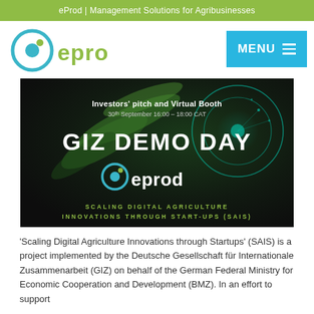eProd | Management Solutions for Agribusinesses
[Figure (logo): eProd company logo with circular icon and green text]
[Figure (screenshot): GIZ Demo Day promotional banner for eProd showing 'Investors' pitch and Virtual Booth 30th September 16:00 - 18:00 CAT', 'GIZ DEMO DAY', eProd logo, and 'SCALING DIGITAL AGRICULTURE INNOVATIONS THROUGH START-UPS (SAIS)']
'Scaling Digital Agriculture Innovations through Startups' (SAIS) is a project implemented by the Deutsche Gesellschaft für Internationale Zusammenarbeit (GIZ) on behalf of the German Federal Ministry for Economic Cooperation and Development (BMZ). In an effort to support